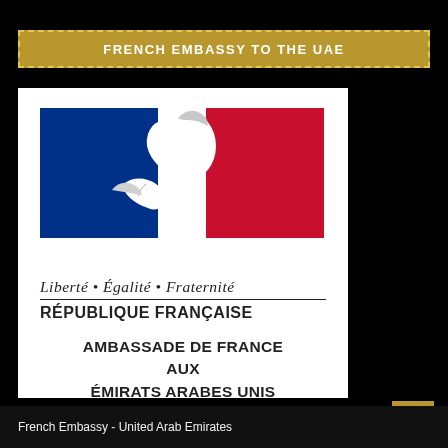FRENCH EMBASSY TO THE UAE
[Figure (logo): French Republic official emblem: tricolor flag (blue, white, red) with Marianne silhouette, text 'Liberté • Égalité • Fraternité', 'RÉPUBLIQUE FRANÇAISE', 'AMBASSADE DE FRANCE AUX ÉMIRATS ARABES UNIS']
French Embassy - United Arab Emirates